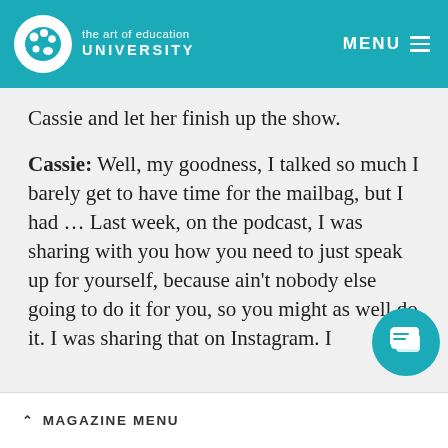the art of education UNIVERSITY  MENU
Cassie and let her finish up the show.
Cassie: Well, my goodness, I talked so much I barely get to have time for the mailbag, but I had … Last week, on the podcast, I was sharing with you how you need to just speak up for yourself, because ain't nobody else going to do it for you, so you might as well do it. I was sharing that on Instagram. I...
^ MAGAZINE MENU